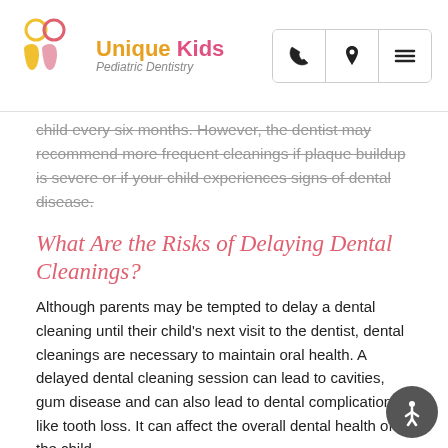Unique Kids Pediatric Dentistry — navigation header with phone, location, and menu icons
child every six months. However, the dentist may recommend more frequent cleanings if plaque buildup is severe or if your child experiences signs of dental disease.
What Are the Risks of Delaying Dental Cleanings?
Although parents may be tempted to delay a dental cleaning until their child's next visit to the dentist, dental cleanings are necessary to maintain oral health. A delayed dental cleaning session can lead to cavities, gum disease and can also lead to dental complications like tooth loss. It can affect the overall dental health of the child.
Unique Kids Pediatric Dentistry is equipped with the latest technologies and modern amenities that enable the best dental care facilities for patients. Call us at (909) 980-5530